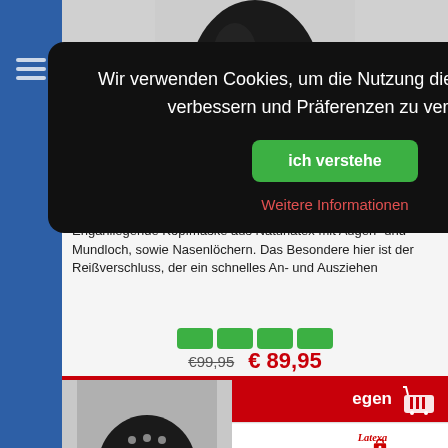[Figure (photo): Latex head mask with red lip opening, worn by a model, product photo on grey background]
or-29202981001
Enganliegende Kopfmaske aus Naturlatex mit Augen- und Mundloch, sowie Nasenlöchern. Das Besondere hier ist der Reißverschluss, der ein schnelles An- und Ausziehen
[Figure (other): Four green size selector buttons]
€99,95  € 89,95
egen  [cart icon]
ke Von Latexa
[Figure (logo): Latexa brand logo in red cursive script with red padlock icon]
Wir verwenden Cookies, um die Nutzung dieser Website zu verbessern und Präferenzen zu verfolgen.
ich verstehe
Weitere Informationen
[Figure (photo): Black latex ball/hood product lower portion visible at bottom of page]